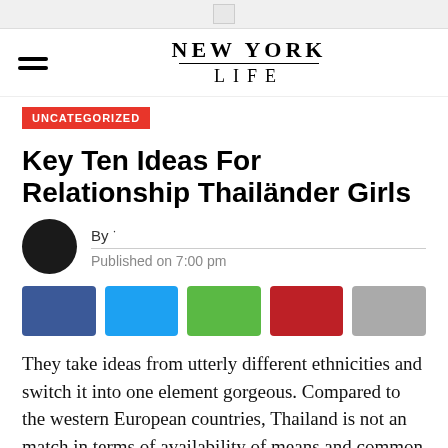NEW YORK LIFE
UNCATEGORIZED
Key Ten Ideas For Relationship Thailänder Girls
By · Published on 7:00 pm
[Figure (other): Social share buttons: Facebook (blue), Twitter (light blue), Google (green), Pinterest (red), Share (gray)]
They take ideas from utterly different ethnicities and switch it into one element gorgeous. Compared to the western European countries, Thailand is not an match in terms of availability of means and common amenities. If perhaps a Thai lover realizes